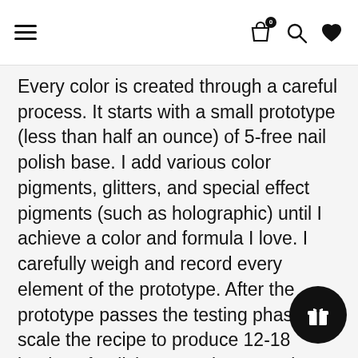≡  [bag icon: 0]  [search icon]  [heart icon]
Every color is created through a careful process. It starts with a small prototype (less than half an ounce) of 5-free nail polish base. I add various color pigments, glitters, and special effect pigments (such as holographic) until I achieve a color and formula I love. I carefully weigh and record every element of the prototype. After the prototype passes the testing phase, I scale the recipe to produce 12-18 bottles of polish at one time. To mix a batch of polish, I carefully weigh out all the components into a 16-32 ounce paint cup and mix them together. After the polish is created, they are hand poured into individual nail polish bottles. I then hand label each bottle with a Nail Hoot front label, and a top label with the color na… Polishes are then ready to go to their forever ho…